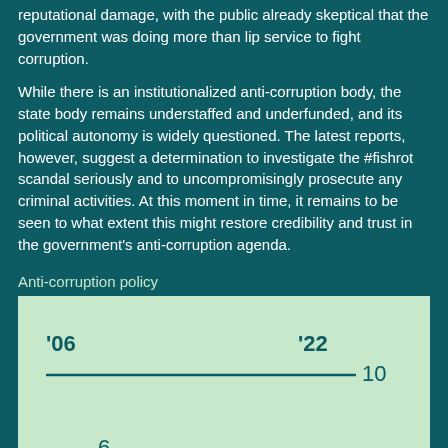reputational damage, with the public already skeptical that the government was doing more than lip service to fight corruption.
While there is an institutionalized anti-corruption body, the state body remains understaffed and underfunded, and its political autonomy is widely questioned. The latest reports, however, suggest a determination to investigate the #fishrot scandal seriously and to uncompromisingly prosecute any criminal activities. At this moment in time, it remains to be seen to what extent this might restore credibility and trust in the government's anti-corruption agenda.
Anti-corruption policy
[Figure (line-chart): Line chart showing anti-corruption policy score from 2006 to 2022, with a horizontal line at value 10 and a value of 6 shown lower]